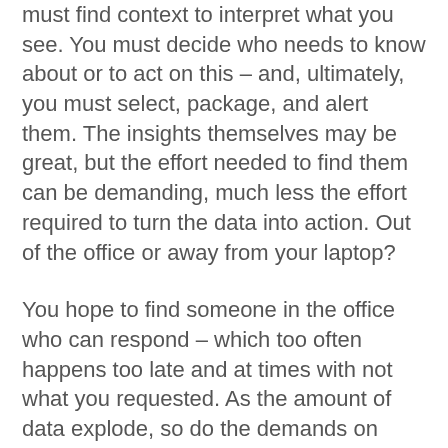must find context to interpret what you see. You must decide who needs to know about or to act on this – and, ultimately, you must select, package, and alert them. The insights themselves may be great, but the effort needed to find them can be demanding, much less the effort required to turn the data into action. Out of the office or away from your laptop?
You hope to find someone in the office who can respond – which too often happens too late and at times with not what you requested. As the amount of data explode, so do the demands on your time. Current technology worsens your plight.
Enter the era of Active Intelligence. These are technologies